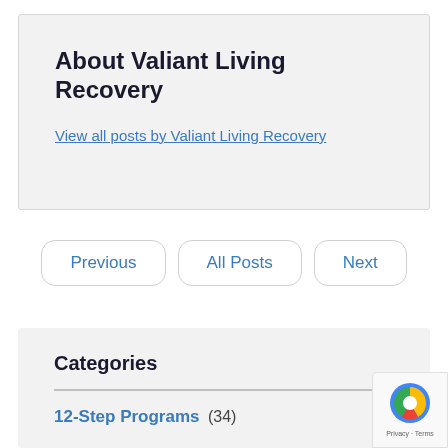About Valiant Living Recovery
View all posts by Valiant Living Recovery
Previous
All Posts
Next
Categories
12-Step Programs (34)